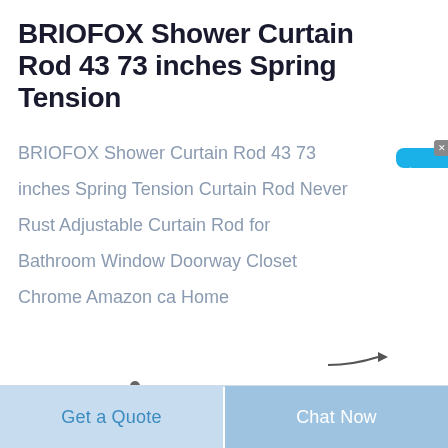BRIOFOX Shower Curtain Rod 43 73 inches Spring Tension
BRIOFOX Shower Curtain Rod 43 73 inches Spring Tension Curtain Rod Never Rust Adjustable Curtain Rod for Bathroom Window Doorway Closet Chrome Amazon ca Home
[Figure (illustration): Small dark decorative figurine/product image at bottom left area]
[Figure (illustration): Blue circular chat button partially visible at bottom right]
[Figure (other): Blue sidebar widget with Chinese text reading 在线咨询 (Online Consultation) with X close button]
Get a Quote
Chat Now